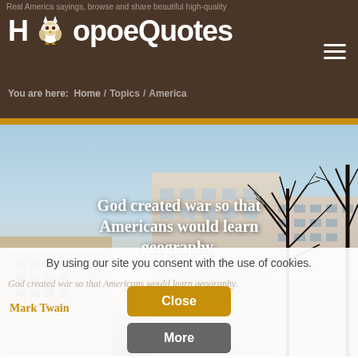Real America sayings, browse and share beautiful high-quality
[Figure (logo): HoopoeQuotes logo with owl icon]
You are here: Home / Topics / America
[Figure (photo): Urban cityscape with bare winter trees against a blue sky, with quote overlay: 'God created war so that Americans would learn geography.' attributed to Mark Twain]
By using our site you consent with the use of cookies.
God created war so that Americans would learn geography.
Mark Twain
Close
More